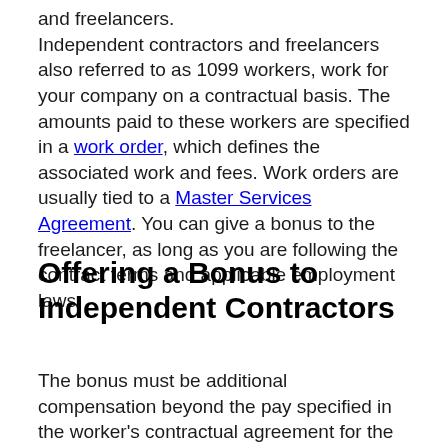and freelancers. Independent contractors and freelancers also referred to as 1099 workers, work for your company on a contractual basis. The amounts paid to these workers are specified in a work order, which defines the associated work and fees. Work orders are usually tied to a Master Services Agreement. You can give a bonus to the freelancer, as long as you are following the contract terms and applicable employment laws.
Offering a Bonus to Independent Contractors
The bonus must be additional compensation beyond the pay specified in the worker's contractual agreement for the completion of the contracted work. Also, the bonus should not be